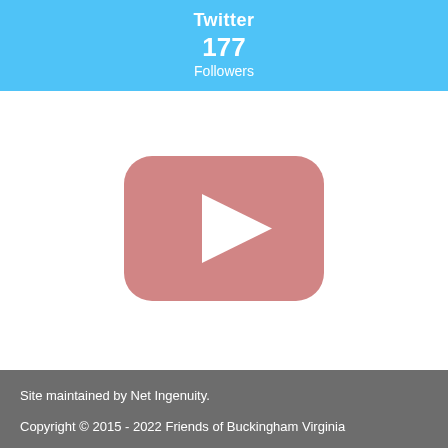Twitter
177
Followers
[Figure (logo): YouTube-style play button icon: rounded rectangle in muted rose/salmon color with a white right-facing triangle in the center]
Site maintained by Net Ingenuity.

Copyright © 2015 - 2022 Friends of Buckingham Virginia